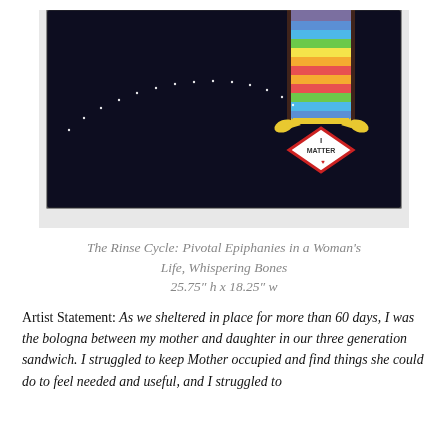[Figure (photo): A dark navy/black textile artwork on a white background. The piece features a colorful striped banner (rainbow colors) hanging down from the top right, with a diamond-shaped tag at the bottom reading 'I MATTER'. A curved arc of tiny white dots/beads traces across the dark background from left to right toward the banner.]
The Rinse Cycle: Pivotal Epiphanies in a Woman's Life, Whispering Bones
25.75" h x 18.25" w
Artist Statement: As we sheltered in place for more than 60 days, I was the bologna between my mother and daughter in our three generation sandwich. I struggled to keep Mother occupied and find things she could do to feel needed and useful, and I struggled to